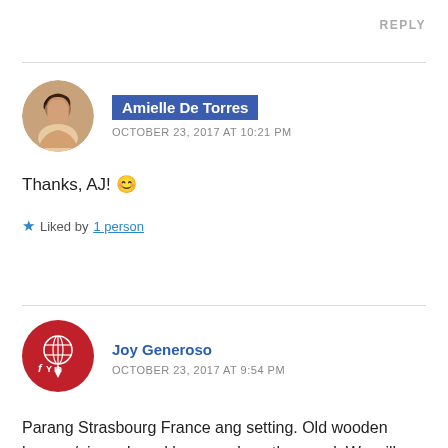REPLY
[Figure (photo): Circular avatar photo of Amielle De Torres, a young woman with long dark hair]
Amielle De Torres
OCTOBER 23, 2017 AT 10:21 PM
Thanks, AJ! 😊
★ Liked by 1 person
[Figure (logo): Circular red logo with white stylized FYM text and globe/map pin icon for Joy Generoso]
Joy Generoso
OCTOBER 23, 2017 AT 9:54 PM
Parang Strasbourg France ang setting. Old wooden houses/ginger bread houses along the canal. We will visit